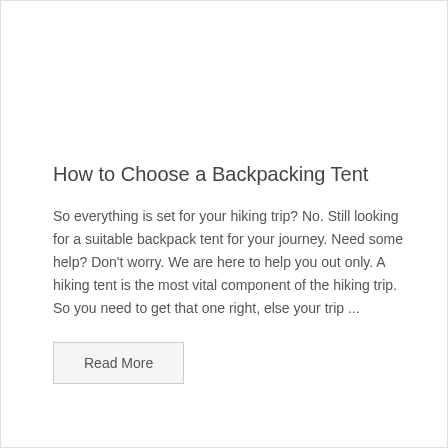How to Choose a Backpacking Tent
So everything is set for your hiking trip? No. Still looking for a suitable backpack tent for your journey. Need some help? Don't worry. We are here to help you out only. A hiking tent is the most vital component of the hiking trip. So you need to get that one right, else your trip ...
Read More